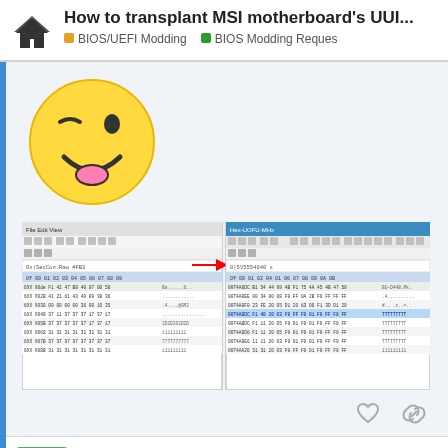How to transplant MSI motherboard's UUI... | BIOS/UEFI Modding | BIOS Modding Reques
[Figure (illustration): Winking face emoji (yellow face with one eye winking and a smile)]
[Figure (screenshot): Screenshot of a hex editor or binary comparison tool showing two side-by-side windows with hex data, toolbars, and a red arrow pointing from left panel to right panel]
June_Da_Pek — Jul '20
Ohhhh😊 I tried again, and the post card show me 0D anain...
10 / 25